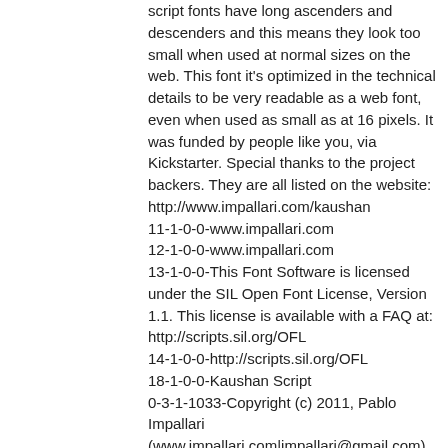script fonts have long ascenders and descenders and this means they look too small when used at normal sizes on the web. This font it's optimized in the technical details to be very readable as a web font, even when used as small as at 16 pixels. It was funded by people like you, via Kickstarter. Special thanks to the project backers. They are all listed on the website: http://www.impallari.com/kaushan
11-1-0-0-www.impallari.com
12-1-0-0-www.impallari.com
13-1-0-0-This Font Software is licensed under the SIL Open Font License, Version 1.1. This license is available with a FAQ at: http://scripts.sil.org/OFL
14-1-0-0-http://scripts.sil.org/OFL
18-1-0-0-Kaushan Script
0-3-1-1033-Copyright (c) 2011, Pablo Impallari (www.impallari.com|impallari@gmail.com), Copyright (c) 2011, Igino Marini. (www.ikern.com|mail@iginomarini.com), with Reserved Font Name Kaushan Script.
1-3-1-1033-Kaushan Script